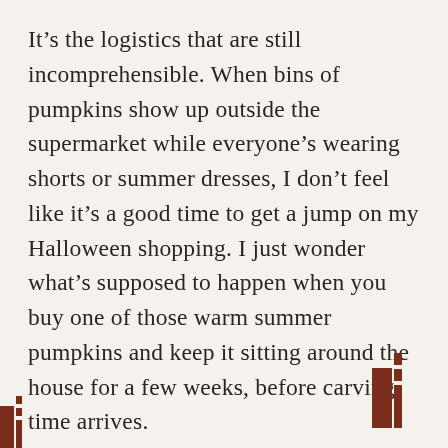It's the logistics that are still incomprehensible. When bins of pumpkins show up outside the supermarket while everyone's wearing shorts or summer dresses, I don't feel like it's a good time to get a jump on my Halloween shopping. I just wonder what's supposed to happen when you buy one of those warm summer pumpkins and keep it sitting around the house for a few weeks, before carving time arrives.

My guess would be it rots, like most other fruits you keep around the house would rot.